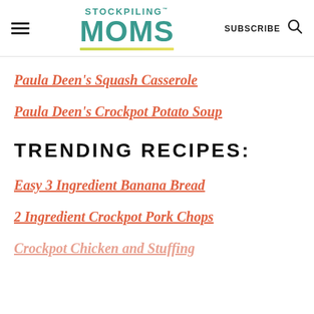STOCKPILING MOMS — SUBSCRIBE
Paula Deen's Squash Casserole
Paula Deen's Crockpot Potato Soup
TRENDING RECIPES:
Easy 3 Ingredient Banana Bread
2 Ingredient Crockpot Pork Chops
Crockpot Chicken and Stuffing